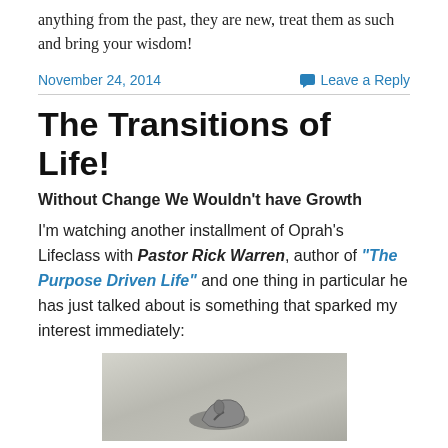anything from the past, they are new, treat them as such and bring your wisdom!
November 24, 2014    Leave a Reply
The Transitions of Life!
Without Change We Wouldn't have Growth
I'm watching another installment of Oprah's Lifeclass with Pastor Rick Warren, author of "The Purpose Driven Life" and one thing in particular he has just talked about is something that sparked my interest immediately:
[Figure (photo): Photo of a sandal/flip-flop on a textured surface]